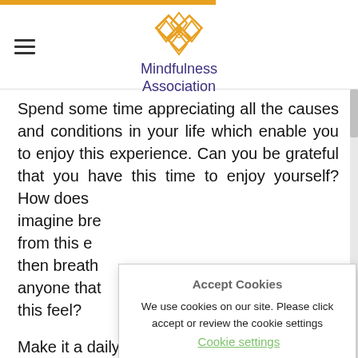Mindfulness Association
Spend some time appreciating all the causes and conditions in your life which enable you to enjoy this experience. Can you be grateful that you have this time to enjoy yourself? How does [partially obscured] imagine bre[athing] from this e[xperience] then breath[ing out to] anyone that [might need] this feel?
Make it a daily life practice to appreciate any...
Accept Cookies
We use cookies on our site. Please click accept or review the cookie settings  Cookie settings
Accept